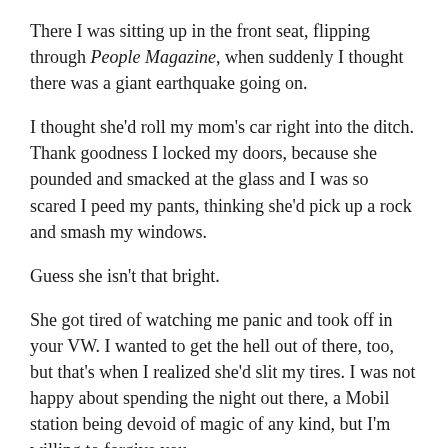There I was sitting up in the front seat, flipping through People Magazine, when suddenly I thought there was a giant earthquake going on.
I thought she'd roll my mom's car right into the ditch. Thank goodness I locked my doors, because she pounded and smacked at the glass and I was so scared I peed my pants, thinking she'd pick up a rock and smash my windows.
Guess she isn't that bright.
She got tired of watching me panic and took off in your VW. I wanted to get the hell out of there, too, but that's when I realized she'd slit my tires. I was not happy about spending the night out there, a Mobil station being devoid of magic of any kind, but I'm willing to forgive you.
I know you wouldn't be with that awful woman if you weren't scared to death, so here's the plan. When: Saturday night at